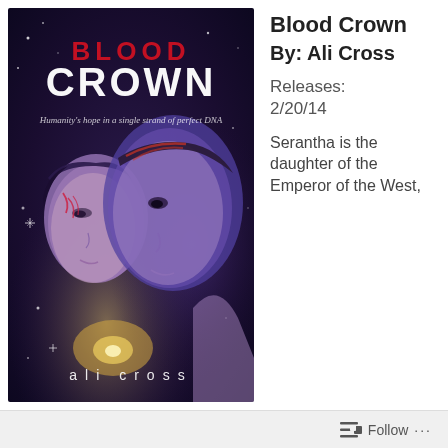[Figure (illustration): Book cover of 'Blood Crown' by Ali Cross. Dark purple/blue cosmic background with two faces — a girl with glowing red markings on her face, and a boy behind her. Title 'BLOOD CROWN' in large text at top (BLOOD in red, CROWN in white). Subtitle: 'Humanity's hope in a single strand of perfect DNA'. Author name 'ali cross' at bottom in white spaced letters.]
Blood Crown
By: Ali Cross
Releases:
2/20/14
Serantha is the daughter of the Emperor of the West,
Follow ...